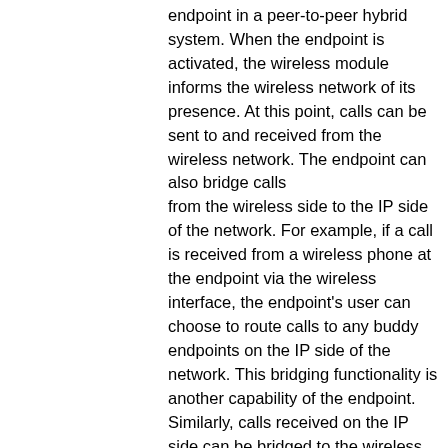endpoint in a peer-to-peer hybrid system. When the endpoint is activated, the wireless module informs the wireless network of its presence. At this point, calls can be sent to and received from the wireless network. The endpoint can also bridge calls from the wireless side to the IP side of the network. For example, if a call is received from a wireless phone at the endpoint via the wireless interface, the endpoint's user can choose to route calls to any buddy endpoints on the IP side of the network. This bridging functionality is another capability of the endpoint. Similarly, calls received on the IP side can be bridged to the wireless side. Referring to Fig. 16, in another embodiment, a method 1600 may be used with interactive voice response (IVR) (e.g., the IVR support provided by the feature layer 264 of Fig. 2b) to automatically handle calls when an auto-attendant is turned on. The auto-attendant provides functionality that allows users to perform other tasks when they are busy or not present to attend to calls or other forms of communication. The method 1600 may automatically terminate calls on behalf of the user and perform other tasks as defined by the user (e.g., leave a